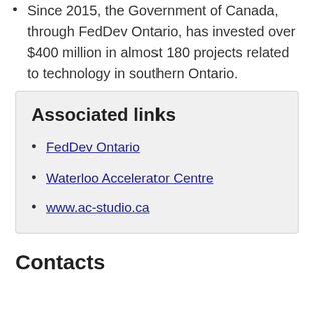Since 2015, the Government of Canada, through FedDev Ontario, has invested over $400 million in almost 180 projects related to technology in southern Ontario.
Associated links
FedDev Ontario
Waterloo Accelerator Centre
www.ac-studio.ca
Contacts